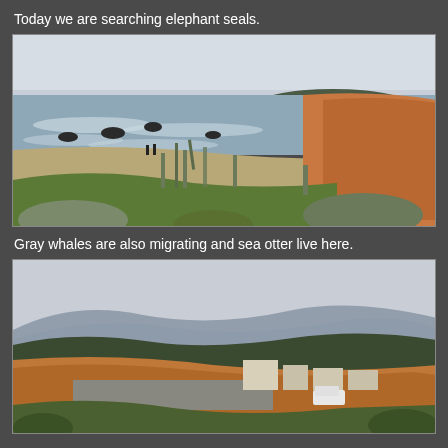Today we are searching elephant seals.
[Figure (photo): Coastal beach scene with ocean waves, rocky outcroppings, sandy beach with two people walking, wooden fence posts, green coastal vegetation, and orange-brown cliffs in the background under a pale grey sky.]
Gray whales are also migrating and sea otter live here.
[Figure (photo): Coastal town scene with buildings, a parking area with a white vehicle, orange-brown cliffs, trees, and mountains in the background under a pale overcast sky.]